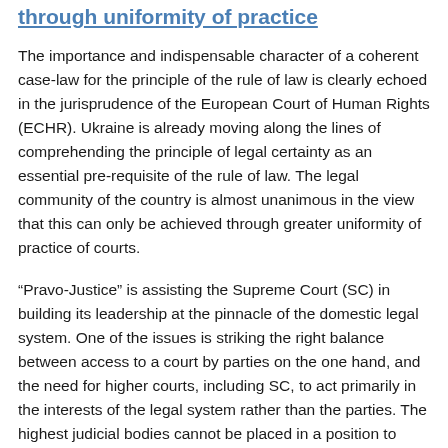through uniformity of practice
The importance and indispensable character of a coherent case-law for the principle of the rule of law is clearly echoed in the jurisprudence of the European Court of Human Rights (ECHR). Ukraine is already moving along the lines of comprehending the principle of legal certainty as an essential pre-requisite of the rule of law. The legal community of the country is almost unanimous in the view that this can only be achieved through greater uniformity of practice of courts.
“Pravo-Justice” is assisting the Supreme Court (SC) in building its leadership at the pinnacle of the domestic legal system. One of the issues is striking the right balance between access to a court by parties on the one hand, and the need for higher courts, including SC, to act primarily in the interests of the legal system rather than the parties. The highest judicial bodies cannot be placed in a position to carry out their function of overseeing the development of consistent jurisprudence